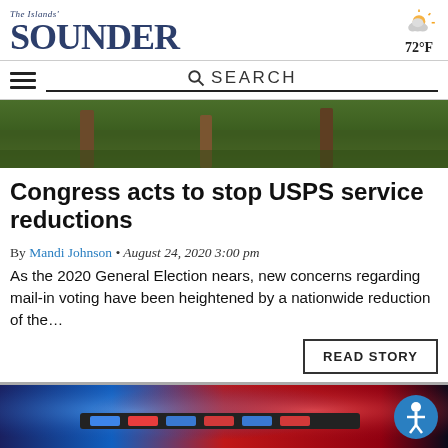The Islands' Sounder — 72°F
SEARCH
[Figure (photo): Outdoor scene with grass and wooden posts/logs, natural landscape]
Congress acts to stop USPS service reductions
By Mandi Johnson • August 24, 2020 3:00 pm
As the 2020 General Election nears, new concerns regarding mail-in voting have been heightened by a nationwide reduction of the...
READ STORY
[Figure (photo): Police car with flashing red and blue emergency lights at night]